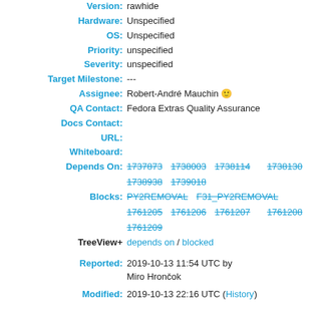Version: rawhide
Hardware: Unspecified
OS: Unspecified
Priority: unspecified
Severity: unspecified
Target Milestone: ---
Assignee: Robert-André Mauchin 🙂
QA Contact: Fedora Extras Quality Assurance
Docs Contact:
URL:
Whiteboard:
Depends On: 1737873 1738003 1738114 1738130 1738938 1739018
Blocks: PY2REMOVAL F31_PY2REMOVAL 1761205 1761206 1761207 1761208 1761209
TreeView+ depends on / blocked
Reported: 2019-10-13 11:54 UTC by Miro Hrončok
Modified: 2019-10-13 22:16 UTC (History)